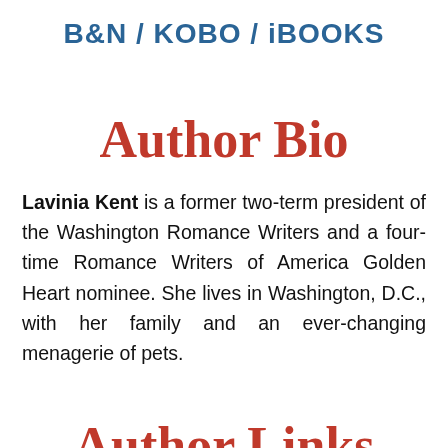B&N / KOBO / iBOOKS
Author Bio
Lavinia Kent is a former two-term president of the Washington Romance Writers and a four-time Romance Writers of America Golden Heart nominee. She lives in Washington, D.C., with her family and an ever-changing menagerie of pets.
Author Links